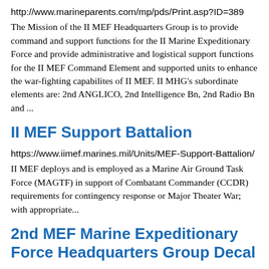http://www.marineparents.com/mp/pds/Print.asp?ID=389
The Mission of the II MEF Headquarters Group is to provide command and support functions for the II Marine Expeditionary Force and provide administrative and logistical support functions for the II MEF Command Element and supported units to enhance the war-fighting capabilites of II MEF. II MHG's subordinate elements are: 2nd ANGLICO, 2nd Intelligence Bn, 2nd Radio Bn and ...
II MEF Support Battalion
https://www.iimef.marines.mil/Units/MEF-Support-Battalion/
II MEF deploys and is employed as a Marine Air Ground Task Force (MAGTF) in support of Combatant Commander (CCDR) requirements for contingency response or Major Theater War; with appropriate...
2nd MEF Marine Expeditionary Force Headquarters Group Decal